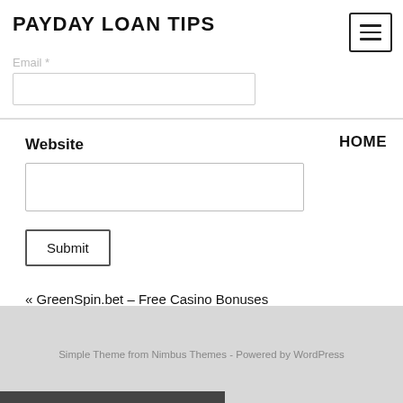PAYDAY LOAN TIPS
Email *
HOME
Website
Submit
« GreenSpin.bet – Free Casino Bonuses
Most common/important things to fix before you take out your bi
Simple Theme from Nimbus Themes - Powered by WordPress